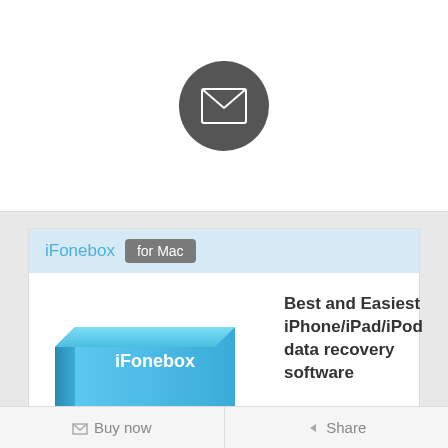[Figure (illustration): Dark grey circle with white envelope/mail icon in the center]
iFonebox for Mac
[Figure (illustration): iFonebox product box software packaging image with blue and green colors]
Best and Easiest iPhone/iPad/iPod data recovery software
$69.95  $49.95
Mac  Buy Now
Share to your facebook timeline to get $15 discount.
Get Windows Version?
Buy now   Share